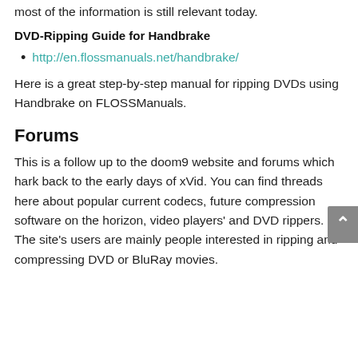most of the information is still relevant today.
DVD-Ripping Guide for Handbrake
http://en.flossmanuals.net/handbrake/
Here is a great step-by-step manual for ripping DVDs using Handbrake on FLOSSManuals.
Forums
This is a follow up to the doom9 website and forums which hark back to the early days of xVid. You can find threads here about popular current codecs, future compression software on the horizon, video players' and DVD rippers. The site's users are mainly people interested in ripping and compressing DVD or BluRay movies.